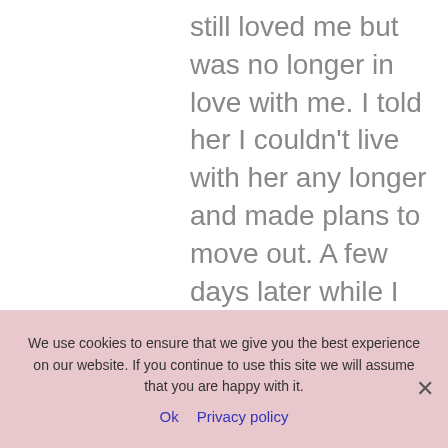still loved me but was no longer in love with me. I told her I couldn't live with her any longer and made plans to move out. A few days later while I was loading a trailer to move, she showed up early at our home with her new supply and walked him into
We use cookies to ensure that we give you the best experience on our website. If you continue to use this site we will assume that you are happy with it.
Ok  Privacy policy